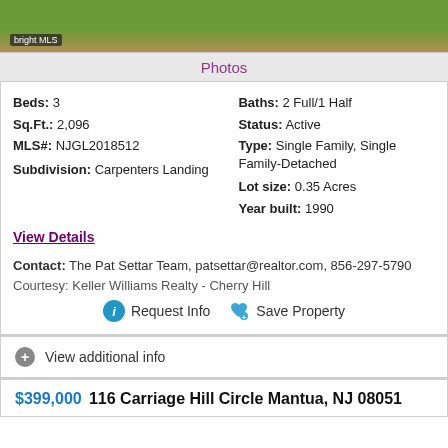[Figure (photo): Photo of green lawn/grass area at base of property image, with bright MLS watermark badge in bottom left]
Photos
Beds: 3
Sq.Ft.: 2,096
MLS#: NJGL2018512
Subdivision: Carpenters Landing
Baths: 2 Full/1 Half
Status: Active
Type: Single Family, Single Family-Detached
Lot size: 0.35 Acres
Year built: 1990
View Details
Contact: The Pat Settar Team, patsettar@realtor.com, 856-297-5790
Courtesy: Keller Williams Realty - Cherry Hill
Request Info   Save Property
View additional info
$399,000   116 Carriage Hill Circle Mantua, NJ 08051